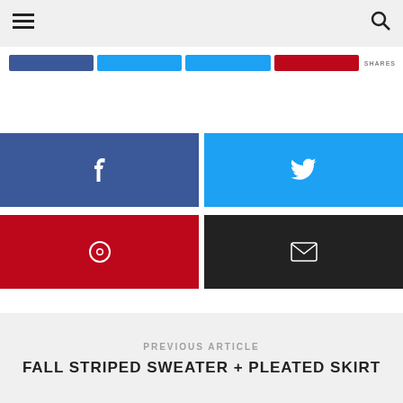☰  🔍
[Figure (screenshot): Social share buttons row (Facebook, Twitter, Pinterest, red button) with SHARES label]
[Figure (screenshot): Four large social share buttons: Facebook (blue), Twitter (light blue), Pinterest (red), Email (black)]
PREVIOUS ARTICLE
FALL STRIPED SWEATER + PLEATED SKIRT